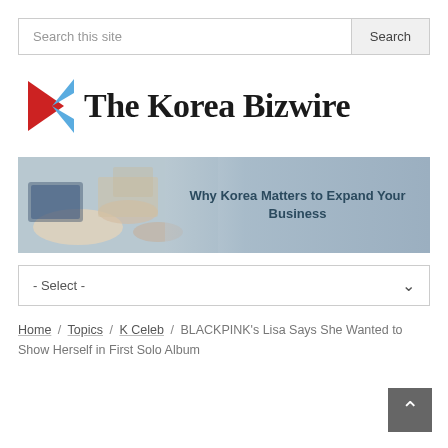Search this site | Search
[Figure (logo): The Korea Bizwire logo with a stylized K icon in red and blue triangles, followed by text 'The Korea Bizwire' in serif font]
[Figure (photo): Banner image showing hands and documents with text 'Why Korea Matters to Expand Your Business']
- Select -
Home / Topics / K Celeb / BLACKPINK's Lisa Says She Wanted to Show Herself in First Solo Album